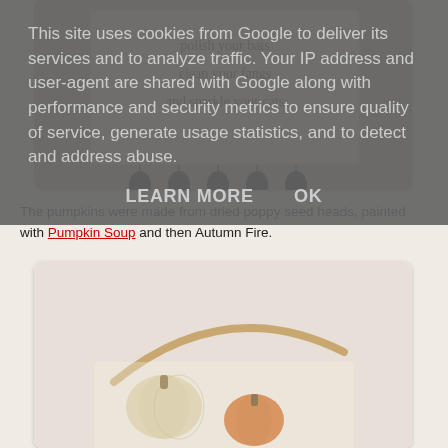This site uses cookies from Google to deliver its services and to analyze traffic. Your IP address and user-agent are shared with Google along with performance and security metrics to ensure quality of service, generate usage statistics, and to detect and address abuse.
LEARN MORE    OK
[Figure (photo): A decorative tile or tag with handwritten dark text reading 'polish your bats, clean your fangs, and sparkle your cats', with black oval beads hanging from the bottom edge.]
The pumpkins were made from dried poppy seed heads, painted with Pumpkin Soup and then Autumn Fire.
[Figure (photo): Close-up of dried poppy seed heads painted to look like small pumpkins in orange and cream colors, arranged on a light background.]